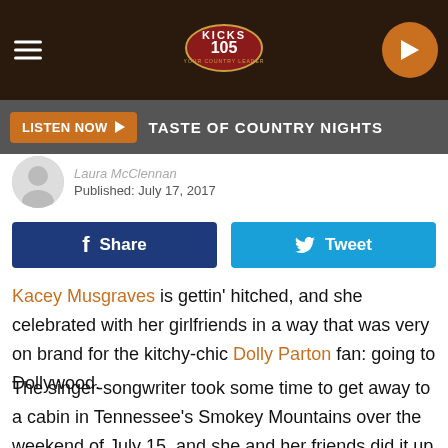[Figure (screenshot): Kicks 105 radio station website header with dark brown textured background, hamburger menu icon on left, Kicks 105 oval logo in center, orange play button on right]
LISTEN NOW ▶  TASTE OF COUNTRY NIGHTS
Laura McClennan
Published: July 17, 2017
f Share   Tweet
Kacey Musgraves is gettin' hitched, and she celebrated with her girlfriends in a way that was very on brand for the kitchy-chic Dolly Parton fan: going to Dollywood.
The singer-songwriter took some time to get away to a cabin in Tennessee's Smokey Mountains over the weekend of July 15, and she and her friends did it up right, complete with customized fanny packs, air-brushed tees and personalized